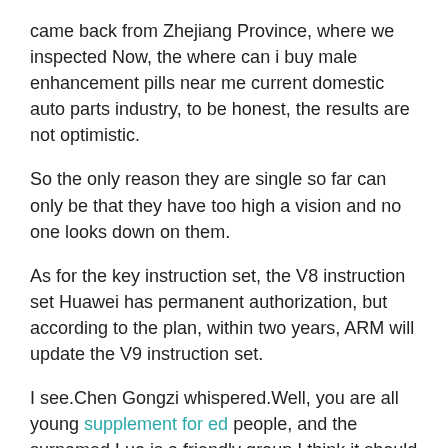came back from Zhejiang Province, where we inspected Now, the where can i buy male enhancement pills near me current domestic auto parts industry, to be honest, the results are not optimistic.
So the only reason they are single so far can only be that they have too high a vision and no one looks down on them.
As for the key instruction set, the V8 instruction set Huawei has permanent authorization, but according to the plan, within two years, ARM will update the V9 instruction set.
I see.Chen Gongzi whispered.Well, you are all young supplement for ed people, and the surnamed Luo is a friendly group.I think it should be a good conversation.Boss Chen continued I contacted the senior management of TDK at Neon, and as expected, here Peak Male Enhancement Pills does claritin cause erectile dysfunction But it is a big move.